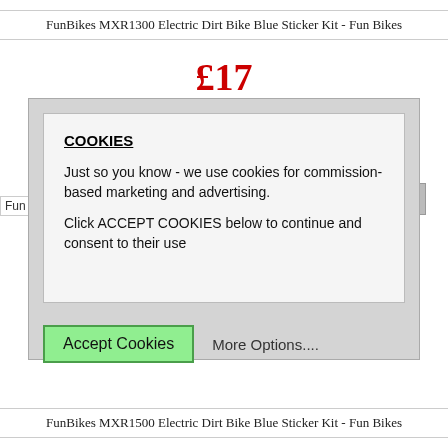FunBikes MXR1300 Electric Dirt Bike Blue Sticker Kit - Fun Bikes
£17
COOKIES

Just so you know - we use cookies for commission-based marketing and advertising.

Click ACCEPT COOKIES below to continue and consent to their use
Accept Cookies    More Options....
FunBikes MXR1500 Electric Dirt Bike Blue Sticker Kit - Fun Bikes